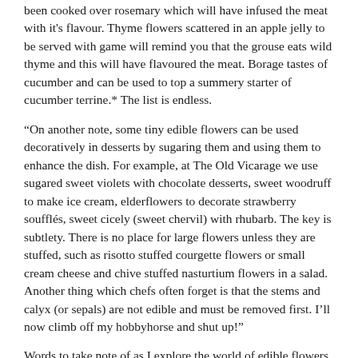been cooked over rosemary which will have infused the meat with it's flavour. Thyme flowers scattered in an apple jelly to be served with game will remind you that the grouse eats wild thyme and this will have flavoured the meat. Borage tastes of cucumber and can be used to top a summery starter of cucumber terrine.* The list is endless.
“On another note, some tiny edible flowers can be used decoratively in desserts by sugaring them and using them to enhance the dish. For example, at The Old Vicarage we use sugared sweet violets with chocolate desserts, sweet woodruff to make ice cream, elderflowers to decorate strawberry soufflés, sweet cicely (sweet chervil) with rhubarb. The key is subtlety. There is no place for large flowers unless they are stuffed, such as risotto stuffed courgette flowers or small cream cheese and chive stuffed nasturtium flowers in a salad. Another thing which chefs often forget is that the stems and calyx (or sepals) are not edible and must be removed first. I’ll now climb off my hobbyhorse and shut up!”
Words to take note of as I explore the world of edible flowers.
First, a list of flower petals which are edible: carnations,